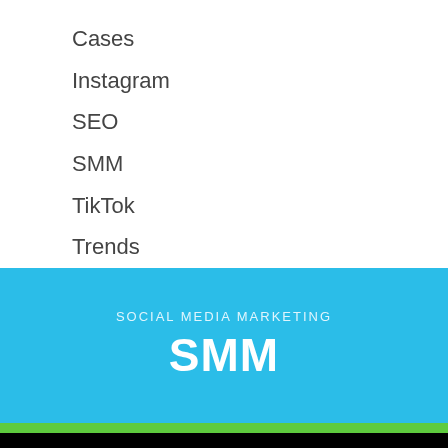Cases
Instagram
SEO
SMM
TikTok
Trends
SOCIAL MEDIA MARKETING
SMM
We use cookies to ensure that we give you the best experience on our website. If you continue to use this site we will assume that you are happy with it.